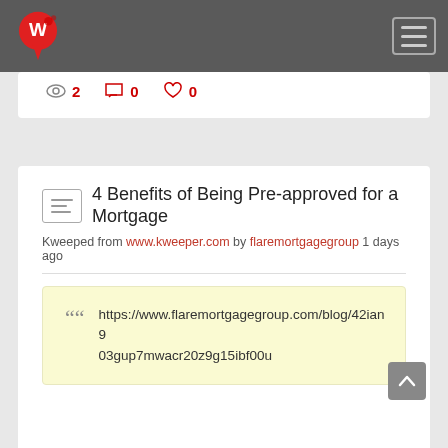Kweeper navigation bar with logo and hamburger menu
2  0  0
4 Benefits of Being Pre-approved for a Mortgage
Kweeped from www.kweeper.com by flaremortgagegroup 1 days ago
https://www.flaremortgagegroup.com/blog/42ian903gup7mwacr20z9g15ibf00u
...
2  0  0